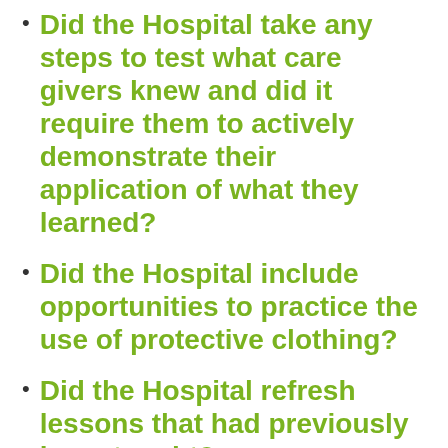Did the Hospital take any steps to test what care givers knew and did it require them to actively demonstrate their application of what they learned?
Did the Hospital include opportunities to practice the use of protective clothing?
Did the Hospital refresh lessons that had previously been taught?
It’s clear that the Hospital is concerned about patient and staff safety – but how clear were the statements of leaders and team members about the importance of rigorously following procedures? There’s a big